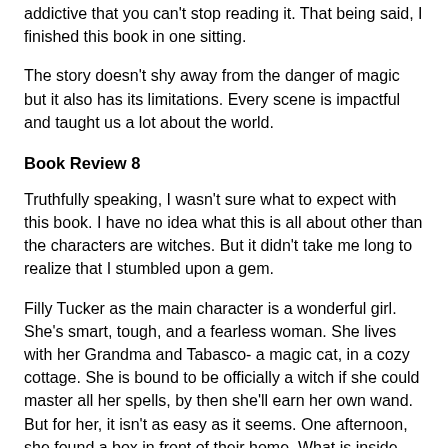addictive that you can't stop reading it. That being said, I finished this book in one sitting.
The story doesn't shy away from the danger of magic but it also has its limitations. Every scene is impactful and taught us a lot about the world.
Book Review 8
Truthfully speaking, I wasn't sure what to expect with this book. I have no idea what this is all about other than the characters are witches. But it didn't take me long to realize that I stumbled upon a gem.
Filly Tucker as the main character is a wonderful girl. She's smart, tough, and a fearless woman. She lives with her Grandma and Tabasco- a magic cat, in a cozy cottage. She is bound to be officially a witch if she could master all her spells, by then she'll earn her own wand. But for her, it isn't as easy as it seems. One afternoon, she found a box in front of their home. What is inside are the things she needs for her upcoming mission. First, a cloak, the red side of the cloak is used for invisibility, while the blue side could help her land safely when flying. The pink slippers are for jumping. And the dry old twig is